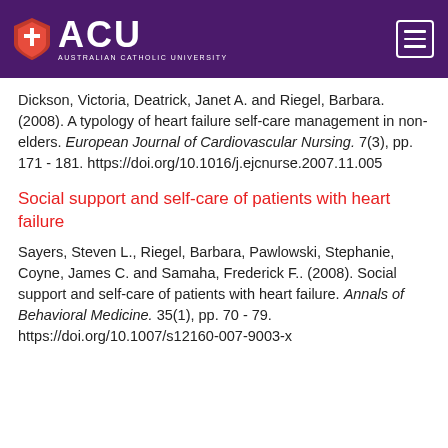[Figure (logo): ACU (Australian Catholic University) logo with shield emblem on purple header bar with hamburger menu icon]
Dickson, Victoria, Deatrick, Janet A. and Riegel, Barbara. (2008). A typology of heart failure self-care management in non-elders. European Journal of Cardiovascular Nursing. 7(3), pp. 171 - 181. https://doi.org/10.1016/j.ejcnurse.2007.11.005
Social support and self-care of patients with heart failure
Sayers, Steven L., Riegel, Barbara, Pawlowski, Stephanie, Coyne, James C. and Samaha, Frederick F.. (2008). Social support and self-care of patients with heart failure. Annals of Behavioral Medicine. 35(1), pp. 70 - 79. https://doi.org/10.1007/s12160-007-9003-x